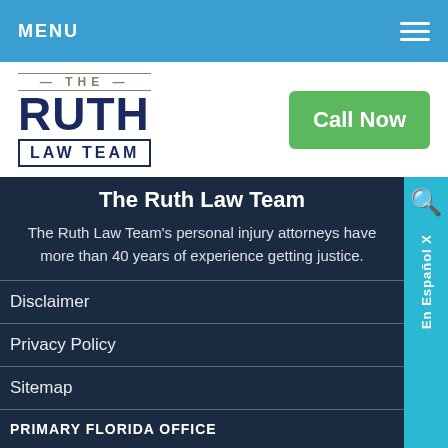MENU
[Figure (logo): The Ruth Law Team logo with stylized text]
Call Now
The Ruth Law Team
The Ruth Law Team's personal injury attorneys have more than 40 years of experience getting justice.
Disclaimer
Privacy Policy
Sitemap
PRIMARY FLORIDA OFFICE